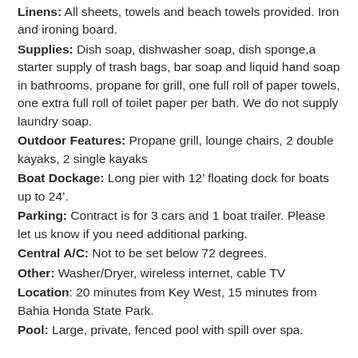Linens: All sheets, towels and beach towels provided. Iron and ironing board.
Supplies: Dish soap, dishwasher soap, dish sponge, a starter supply of trash bags, bar soap and liquid hand soap in bathrooms, propane for grill, one full roll of paper towels, one extra full roll of toilet paper per bath. We do not supply laundry soap.
Outdoor Features: Propane grill, lounge chairs, 2 double kayaks, 2 single kayaks
Boat Dockage: Long pier with 12’ floating dock for boats up to 24’.
Parking: Contract is for 3 cars and 1 boat trailer. Please let us know if you need additional parking.
Central A/C: Not to be set below 72 degrees.
Other: Washer/Dryer, wireless internet, cable TV
Location: 20 minutes from Key West, 15 minutes from Bahia Honda State Park.
Pool: Large, private, fenced pool with spill over spa.